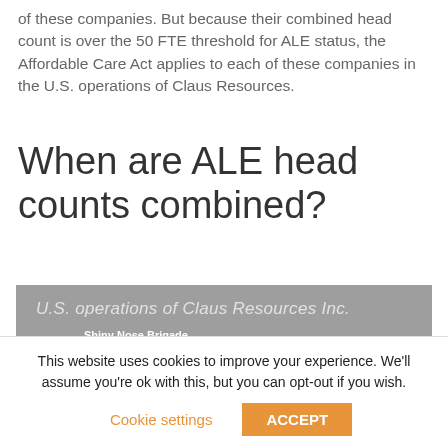of these companies. But because their combined head count is over the 50 FTE threshold for ALE status, the Affordable Care Act applies to each of these companies in the U.S. operations of Claus Resources.
When are ALE head counts combined?
[Figure (screenshot): Screenshot of U.S. operations of Claus Resources Inc. page showing Shiny Nose Brigade company entry with thumbs-up icon and description: Reindeer-led delivery system for orders generated by Nice-list software. Year-long sleigh-maintenance shop.]
This website uses cookies to improve your experience. We'll assume you're ok with this, but you can opt-out if you wish.
Cookie settings   ACCEPT